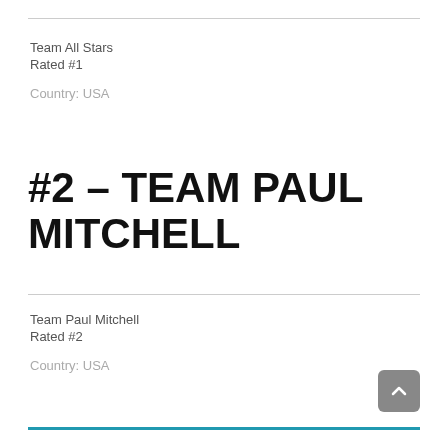Team All Stars
Rated #1
Country: USA
#2 – TEAM PAUL MITCHELL
Team Paul Mitchell
Rated #2
Country: USA